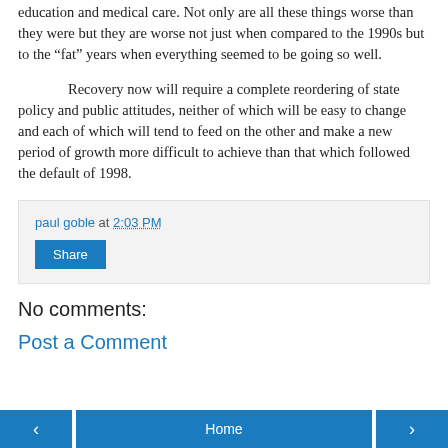education and medical care. Not only are all these things worse than they were but they are worse not just when compared to the 1990s but to the “fat” years when everything seemed to be going so well.
Recovery now will require a complete reordering of state policy and public attitudes, neither of which will be easy to change and each of which will tend to feed on the other and make a new period of growth more difficult to achieve than that which followed the default of 1998.
paul goble at 2:03 PM
Share
No comments:
Post a Comment
Home